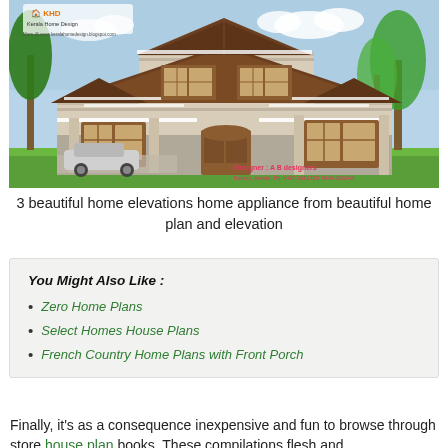[Figure (photo): Photo of a Kerala-style two-story residential house with beige/cream exterior, brown wooden accents, gabled roof, lush greenery and trees, car parked in driveway. Logo 'KHD Kerala Home Design' and watermark text visible top-left. Designer credit 'Designer: A B Designers, Kannur, Kerala' visible bottom-right.]
3 beautiful home elevations home appliance from beautiful home plan and elevation
You Might Also Like :
Zero Home Plans
Select Homes House Plans
French Country Home Plans with Front Porch
Finally, it's as a consequence inexpensive and fun to browse through store house plan books. These compilations flesh and